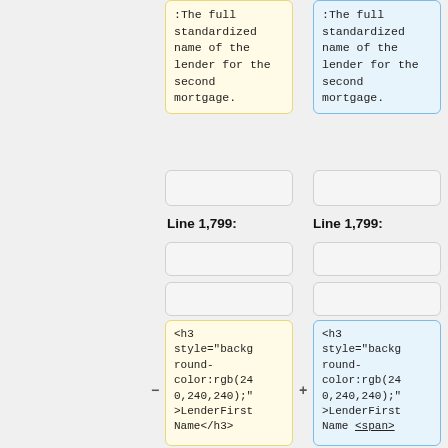:The full standardized name of the lender for the second mortgage.
:The full standardized name of the lender for the second mortgage.
Line 1,799:
Line 1,799:
<h3 style="background-color:rgb(240,240,240);">LenderFirstName</h3>
<h3 style="background-color:rgb(240,240,240);">LenderFirst Name <span>